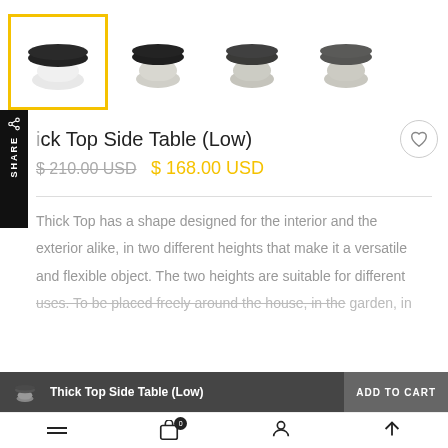[Figure (photo): Four product thumbnails of Thick Top Side Table (Low) in different colors. First image (selected, highlighted with yellow border) shows white base with dark top. Second shows light grey base with dark top. Third shows medium grey base with grey top. Fourth shows light grey base with grey top.]
Thick Top Side Table (Low)
$ 210.00 USD  $ 168.00 USD
Thick Top has a shape designed for the interior and the exterior alike, in two different heights that make it a versatile and flexible object. The two heights are suitable for different uses. To be placed freely around the house, in the garden, in
Thick Top Side Table (Low)  ADD TO CART